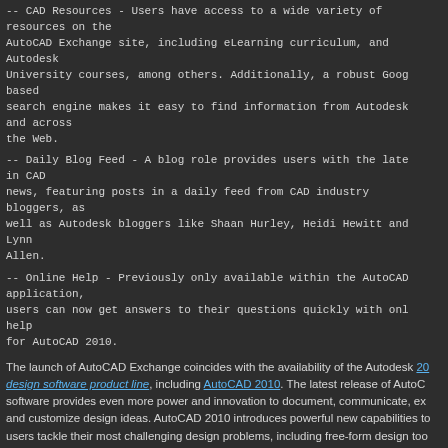-- CAD Resources - Users have access to a wide variety of resources on the AutoCAD Exchange site, including eLearning curriculum, and Autodesk University courses, among others. Additionally, a robust Google-based search engine makes it easy to find information from Autodesk and across the Web.
-- Daily Blog Feed - A blog role provides users with the latest in CAD news, featuring posts in a daily feed from CAD industry bloggers, as well as Autodesk bloggers like Shaan Hurley, Heidi Hewitt and Lynn Allen.
-- Online Help - Previously only available within the AutoCAD application, users can now get answers to their questions quickly with online help for AutoCAD 2010.
The launch of AutoCAD Exchange coincides with the availability of the Autodesk 2010 design software product line, including AutoCAD 2010. The latest release of AutoCAD software provides even more power and innovation to document, communicate, ex and customize design ideas. AutoCAD 2010 introduces powerful new capabilities to users tackle their most challenging design problems, including free-form design too parametric drawing and enhanced PDF support.
About Autodesk